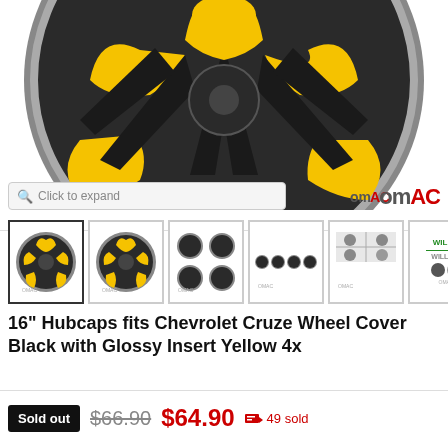[Figure (photo): Black and yellow hubcap/wheel cover product photo shown from front angle, with OMAC branding. Click to expand search bar shown below image.]
[Figure (photo): Row of 6 product thumbnail images showing hubcaps from various angles including 4-pack arrangement and will fit / will not fit compatibility graphics.]
16" Hubcaps fits Chevrolet Cruze Wheel Cover Black with Glossy Insert Yellow 4x
Sold out  $66.90  $64.90  49 sold